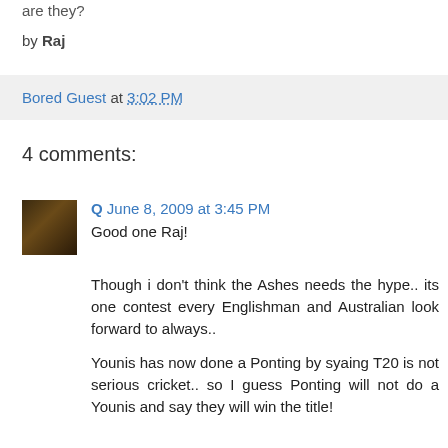are they?
by Raj
Bored Guest at 3:02 PM
4 comments:
Q  June 8, 2009 at 3:45 PM
Good one Raj!
Though i don't think the Ashes needs the hype.. its one contest every Englishman and Australian look forward to always..
Younis has now done a Ponting by syaing T20 is not serious cricket.. so I guess Ponting will not do a Younis and say they will win the title!